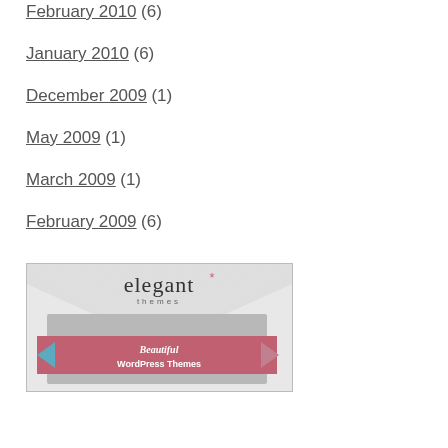February 2010 (6)
January 2010 (6)
December 2009 (1)
May 2009 (1)
March 2009 (1)
February 2009 (6)
[Figure (illustration): Elegant Themes advertisement banner showing logo and 'Beautiful WordPress Themes' text]